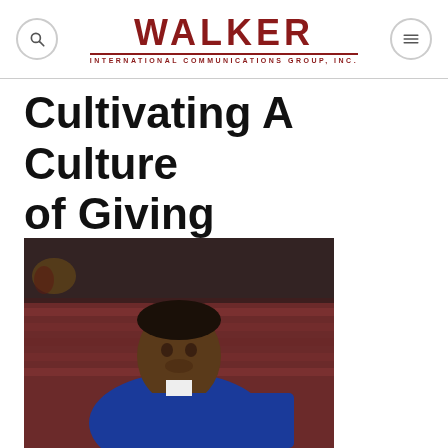Walker International Communications Group, Inc.
Cultivating A Culture of Giving
[Figure (photo): A man in a blue suit and purple tie seated in front of an auditorium with red seats and floral decorations in background]